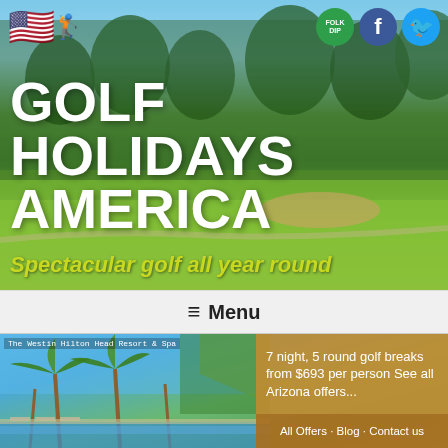[Figure (photo): Golf course banner with green fairway, trees, and blue sky background. Logo with American flag and golfer in top left. Social media icons (Folkdip, Facebook, Twitter) in top right. Large white text 'GOLF HOLIDAYS AMERICA' and yellow-green tagline 'Spectacular golf all year round'.]
GOLF HOLIDAYS AMERICA
Spectacular golf all year round
≡ Menu
[Figure (photo): The Westin Hilton Head Resort & Spa pool area with palm trees, blue sky, and loungers. An orange overlay box on the right reads '7 night, 5 round golf breaks from $693 per person See all Arizona offers...' with a darker footer bar showing 'All Offers · Blog · Contact us'.]
The Westin Hilton Head Resort & Spa
7 night, 5 round golf breaks from $693 per person See all Arizona offers...
All Offers · Blog · Contact us